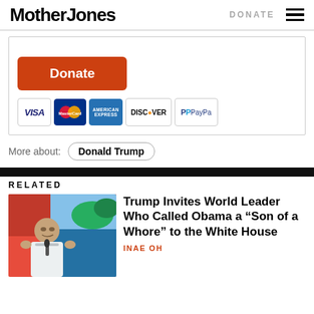Mother Jones | DONATE
[Figure (other): Donate button with orange background and payment method icons (Visa, MasterCard, American Express, Discover, PayPal)]
More about: Donald Trump
RELATED
[Figure (photo): Photo of world leader speaking at a podium with raised hands, in front of a red/orange flag]
Trump Invites World Leader Who Called Obama a “Son of a Whore” to the White House
INAE OH